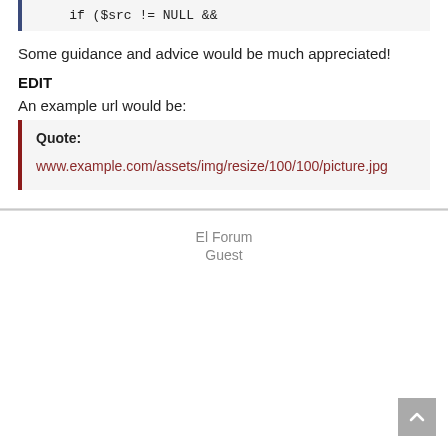if ($src != NULL &&
Some guidance and advice would be much appreciated!
EDIT
An example url would be:
Quote:
www.example.com/assets/img/resize/100/100/picture.jpg
El Forum
Guest